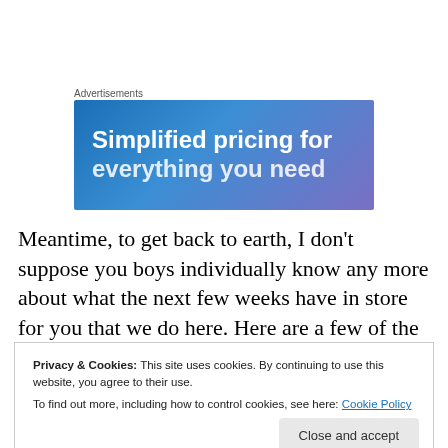Advertisements
[Figure (other): Advertisement banner with gradient blue-purple background showing text 'Simplified pricing for' with remainder cut off]
Meantime, to get back to earth, I don't suppose you boys individually know any more about what the next few weeks have in store for you that we do here. Here are a few of the many questions that step on each other's heels. Will Dave stay in Okinawa? Will he be part of the Jap army of
Privacy & Cookies: This site uses cookies. By continuing to use this website, you agree to their use.
To find out more, including how to control cookies, see here: Cookie Policy
already left for the Pacific? If so, how far has he gotten